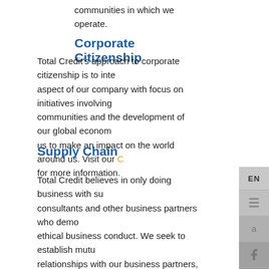communities in which we operate.
Corporate Citizenship
Total Credit's approach to corporate citizenship is to inte... aspect of our company with focus on initiatives involving communities and the development of our global econom... us to make an impact on the world around us. Visit our C... for more information.
Supply Chain
Total Credit believes in only doing business with su... consultants and other business partners who demo... ethical business conduct. We seek to establish mutu... relationships with our business partners, such as G... of the Asiagate Group. Our ultimate goal is to direct... partners and members who demonstrate that they...